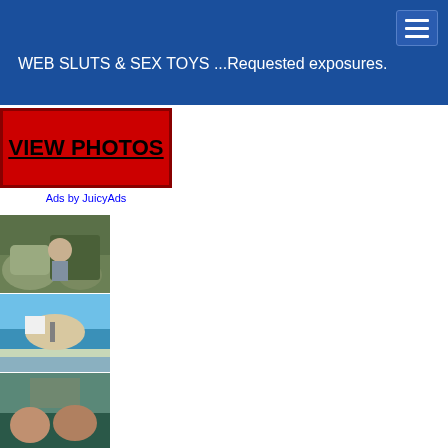WEB SLUTS & SEX TOYS ...Requested exposures.
[Figure (other): Red advertisement banner with black bold underlined text VIEW PHOTOS and blue Ads by JuicyAds label below]
[Figure (photo): Outdoor scene with person among rocks and vegetation]
[Figure (photo): Woman in white bikini on a boat with blue ocean water]
[Figure (photo): People inside a boat cabin]
[Figure (photo): Dark interior car scene]